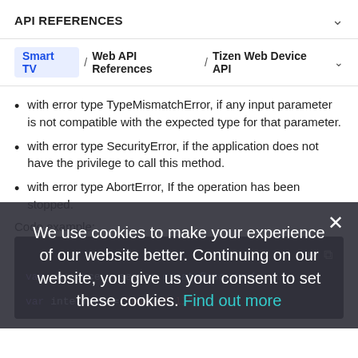API REFERENCES
Smart TV / Web API References / Tizen Web Device API
with error type TypeMismatchError, if any input parameter is not compatible with the expected type for that parameter.
with error type SecurityError, if the application does not have the privilege to call this method.
with error type AbortError, If the operation has been stopped.
Code example:
We use cookies to make your experience of our website better. Continuing on our website, you give us your consent to set these cookies. Find out more
var resource = server.createResource(u...
var interface = "oic.if.ll";